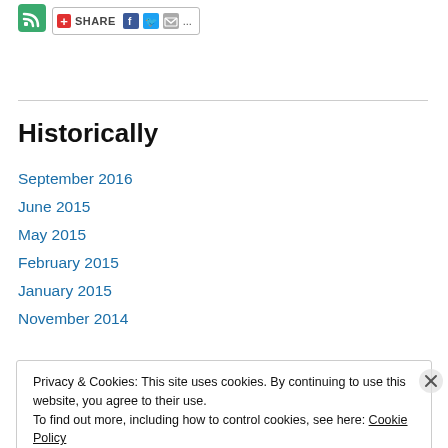[Figure (logo): Green RSS feed icon]
[Figure (other): Share button with Facebook, Twitter, email icons]
Historically
September 2016
June 2015
May 2015
February 2015
January 2015
November 2014
Privacy & Cookies: This site uses cookies. By continuing to use this website, you agree to their use.
To find out more, including how to control cookies, see here: Cookie Policy
Close and accept